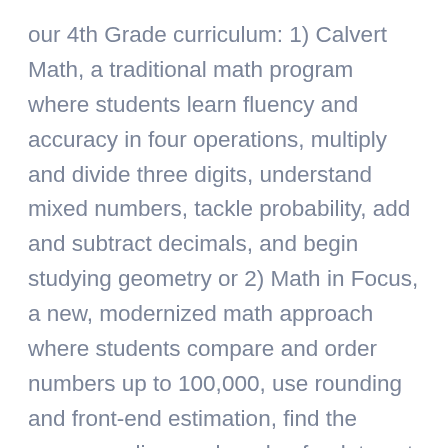our 4th Grade curriculum: 1) Calvert Math, a traditional math program where students learn fluency and accuracy in four operations, multiply and divide three digits, understand mixed numbers, tackle probability, add and subtract decimals, and begin studying geometry or 2) Math in Focus, a new, modernized math approach where students compare and order numbers up to 100,000, use rounding and front-end estimation, find the mean, median, and mode of a data set, and determine the probability of an event.
4th Grade students will gain exposure to more technology, while they learn to use spreadsheets and create tables, charts, and